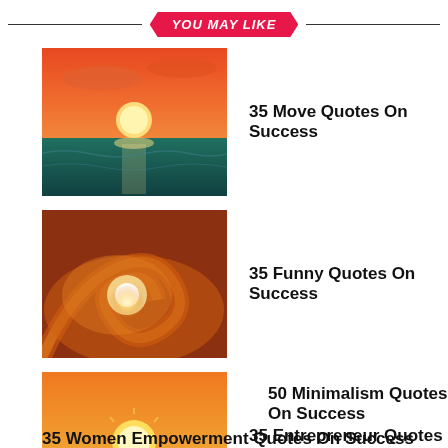YOU MAY LIKE
35 Move Quotes On Success
35 Funny Quotes On Success
35 Entrepreneur Quotes On Success
50 Minimalism Quotes On Success
35 Women Empowerment Quotes On Success